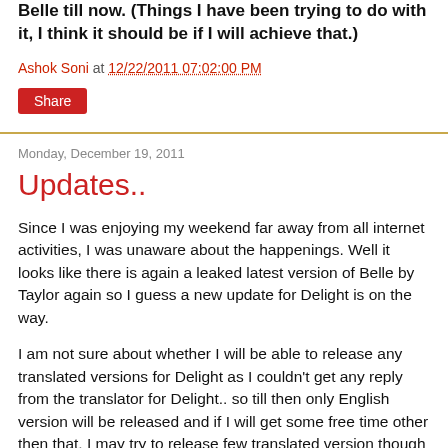Belle till now. (Things I have been trying to do with it, I think it should be if I will achieve that.)
Ashok Soni at 12/22/2011 07:02:00 PM
Share
Monday, December 19, 2011
Updates..
Since I was enjoying my weekend far away from all internet activities, I was unaware about the happenings. Well it looks like there is again a leaked latest version of Belle by Taylor again so I guess a new update for Delight is on the way.
I am not sure about whether I will be able to release any translated versions for Delight as I couldn't get any reply from the translator for Delight.. so till then only English version will be released and if I will get some free time other then that, I may try to release few translated version though can't promise about that..